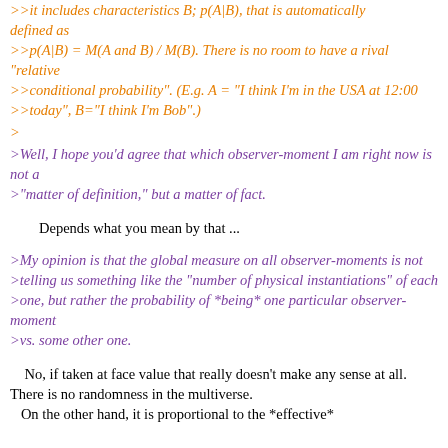>>it includes characteristics B; p(A|B), that is automatically defined as
>>p(A|B) = M(A and B) / M(B). There is no room to have a rival "relative
>>conditional probability". (E.g. A = "I think I'm in the USA at 12:00
>>today", B="I think I'm Bob".)
>
>Well, I hope you'd agree that which observer-moment I am right now is not a
>"matter of definition," but a matter of fact.
Depends what you mean by that ...
>My opinion is that the global measure on all observer-moments is not
>telling us something like the "number of physical instantiations" of each
>one, but rather the probability of *being* one particular observer-moment
>vs. some other one.
No, if taken at face value that really doesn't make any sense at all.
There is no randomness in the multiverse.
   On the other hand, it is proportional to the *effective*